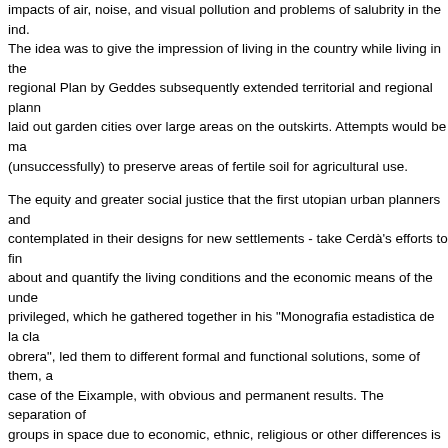impacts of air, noise, and visual pollution and problems of salubrity in the ind. The idea was to give the impression of living in the country while living in the regional Plan by Geddes subsequently extended territorial and regional plann laid out garden cities over large areas on the outskirts. Attempts would be ma (unsuccessfully) to preserve areas of fertile soil for agricultural use.
The equity and greater social justice that the first utopian urban planners and contemplated in their designs for new settlements - take Cerdà's efforts to fin about and quantify the living conditions and the economic means of the unde privileged, which he gathered together in his "Monografia estadistica de la cla obrera", led them to different formal and functional solutions, some of them, a case of the Eixample, with obvious and permanent results. The separation of groups in space due to economic, ethnic, religious or other differences is toda cause of social conflict, the decline in law and order, and uncertainty in terms future. Delinquency, drugs, the submerged economy, the undemocratic contr by groups that use rules of the game beyond constitutional laws, are just son emerging conflicts of a dualistic society that the segregative city has stimulate continues to stimulate today. Conflict resolution in the industrial age has been dominated by improvements hygienic conditions and salubrity, and to the improvement of general living co concerning working conditions, both in terms of the length of the working day hygiene-sanitary conditions and also improvements to the habitability of hous urban space for a part of the social groups.
In cities in the West, a certain number of the conflicts have been resolved thr series of building and planning standards for plans and projects although the characteristics and dimension of certain current conflicts mean that, while the Cerdà and others should not be forgotten, emphasis needs to be placed on n theories of planning that deal in an integrated, systemic way with how the cit the time when Cerdà developed his systemic approach to the city, systems th